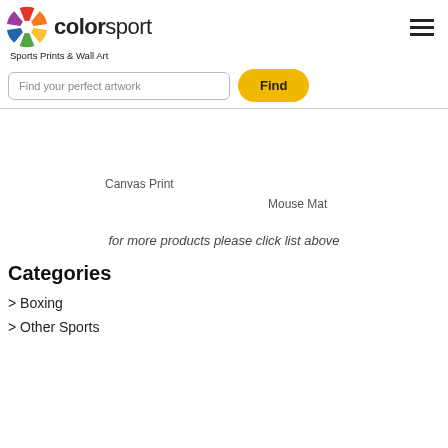colorsport
Sports Prints & Wall Art
Find your perfect artwork
Find
Canvas Print
Mouse Mat
for more products please click list above
Categories
> Boxing
> Other Sports